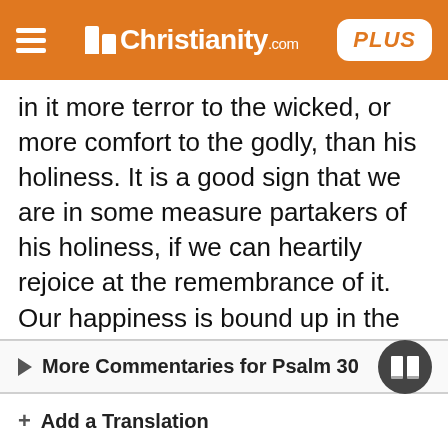Christianity.com PLUS
in it more terror to the wicked, or more comfort to the godly, than his holiness. It is a good sign that we are in some measure partakers of his holiness, if we can heartily rejoice at the remembrance of it. Our happiness is bound up in the Divine favour; if we have that, we have enough, whatever else we want; but as long as God's anger continues, so long the saints' weeping continues.
More Commentaries for Psalm 30
Add a Translation